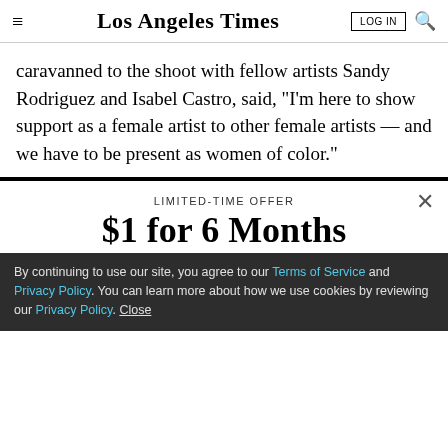Los Angeles Times
caravanned to the shoot with fellow artists Sandy Rodriguez and Isabel Castro, said, “I’m here to show support as a female artist to other female artists — and we have to be present as women of color.”
LIMITED-TIME OFFER
$1 for 6 Months
SUBSCRIBE NOW
By continuing to use our site, you agree to our Terms of Service and Privacy Policy. You can learn more about how we use cookies by reviewing our Privacy Policy. Close